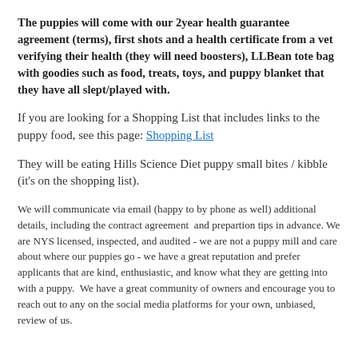The puppies will come with our 2year health guarantee agreement (terms), first shots and a health certificate from a vet verifying their health (they will need boosters), LLBean tote bag with goodies such as food, treats, toys, and puppy blanket that they have all slept/played with.
If you are looking for a Shopping List that includes links to the puppy food, see this page: Shopping List
They will be eating Hills Science Diet puppy small bites / kibble (it's on the shopping list).
We will communicate via email (happy to by phone as well) additional details, including the contract agreement  and prepartion tips in advance. We are NYS licensed, inspected, and audited - we are not a puppy mill and care about where our puppies go - we have a great reputation and prefer applicants that are kind, enthusiastic, and know what they are getting into with a puppy.  We have a great community of owners and encourage you to reach out to any on the social media platforms for your own, unbiased, review of us.